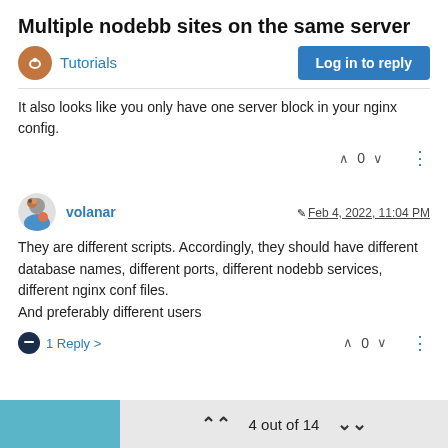Multiple nodebb sites on the same server
Tutorials
It also looks like you only have one server block in your nginx config.
volanar  Feb 4, 2022, 11:04 PM
They are different scripts. Accordingly, they should have different database names, different ports, different nodebb services, different nginx conf files.
And preferably different users
1 Reply >
4 out of 14